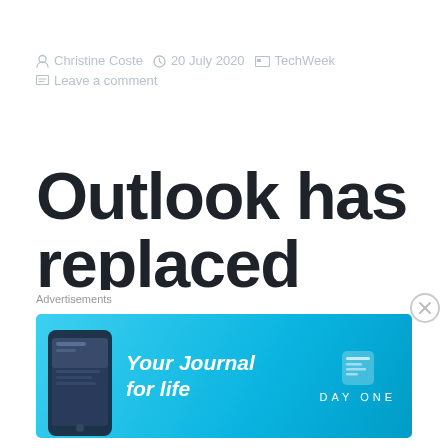Christine Coste   20 July 2020   TechWeek
Leave a comment
Outlook has replaced how you search your emails...two useful
[Figure (infographic): Advertisements banner for Day One app — 'Your Journal for life' on a cyan/blue gradient background with phone mockup and Day One logo]